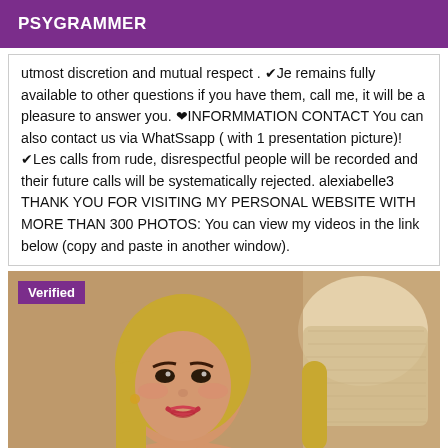PSYGRAMMER
utmost discretion and mutual respect . ✔Je remains fully available to other questions if you have them, call me, it will be a pleasure to answer you. ❤INFORMMATION CONTACT You can also contact us via WhatSsapp ( with 1 presentation picture)! ✔Les calls from rude, disrespectful people will be recorded and their future calls will be systematically rejected. alexiabelle3 THANK YOU FOR VISITING MY PERSONAL WEBSITE WITH MORE THAN 300 PHOTOS: You can view my videos in the link below (copy and paste in another window).
[Figure (photo): Photo of a young woman with long blonde hair, smiling, with a lamp shade visible in the background. A purple 'Verified' badge is shown in the top-left corner of the photo.]